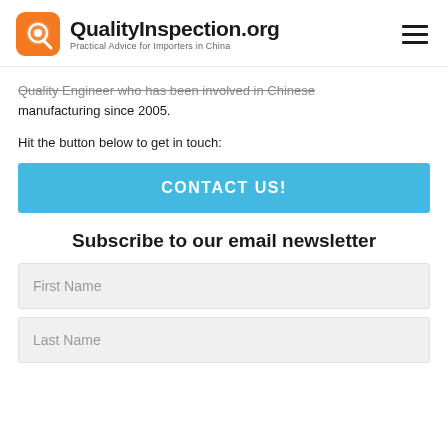QualityInspection.org — Practical Advice for Importers in China
Quality Engineer who has been involved in Chinese manufacturing since 2005.
Hit the button below to get in touch:
[Figure (other): CONTACT US! button — blue rectangle with white bold uppercase text]
Subscribe to our email newsletter
First Name
Last Name